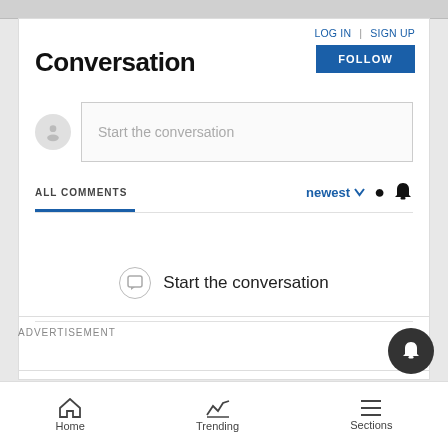LOG IN | SIGN UP
Conversation
FOLLOW
Start the conversation
ALL COMMENTS
newest ∨
Start the conversation
ADVERTISEMENT
Powered by viafoura
Home  Trending  Sections